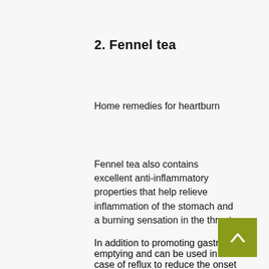2. Fennel tea
Home remedies for heartburn
Fennel tea also contains excellent anti-inflammatory properties that help relieve inflammation of the stomach and a burning sensation in the throat.
In addition to promoting gastric emptying and can be used in case of reflux to reduce the onset of